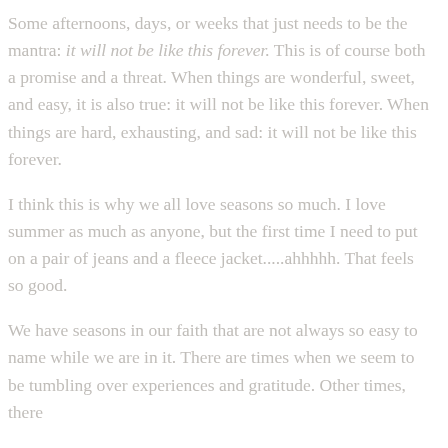Some afternoons, days, or weeks that just needs to be the mantra: it will not be like this forever. This is of course both a promise and a threat. When things are wonderful, sweet, and easy, it is also true: it will not be like this forever. When things are hard, exhausting, and sad: it will not be like this forever.
I think this is why we all love seasons so much. I love summer as much as anyone, but the first time I need to put on a pair of jeans and a fleece jacket.....ahhhhh. That feels so good.
We have seasons in our faith that are not always so easy to name while we are in it. There are times when we seem to be tumbling over experiences and gratitude. Other times, there...